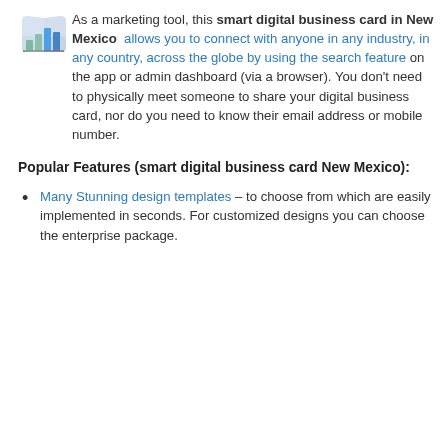[Figure (logo): Colorful bar chart logo icon with book/pages graphic, overlaid with 'Business' text label]
As a marketing tool, this smart digital business card in New Mexico allows you to connect with anyone in any industry, in any country, across the globe by using the search feature on the app or admin dashboard (via a browser). You don’t need to physically meet someone to share your digital business card, nor do you need to know their email address or mobile number.
Popular Features (smart digital business card New Mexico):
Many Stunning design templates – to choose from which are easily implemented in seconds. For customized designs you can choose the enterprise package.